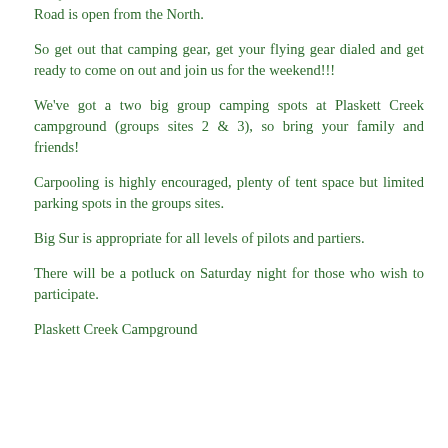Directions from the South https://goo.gl/maps/dRQKSNtAzGJ2
Road is open from the North.
So get out that camping gear, get your flying gear dialed and get ready to come on out and join us for the weekend!!!
We've got a two big group camping spots at Plaskett Creek campground (groups sites 2 & 3), so bring your family and friends!
Carpooling is highly encouraged, plenty of tent space but limited parking spots in the groups sites.
Big Sur is appropriate for all levels of pilots and partiers.
There will be a potluck on Saturday night for those who wish to participate.
Plaskett Creek Campground